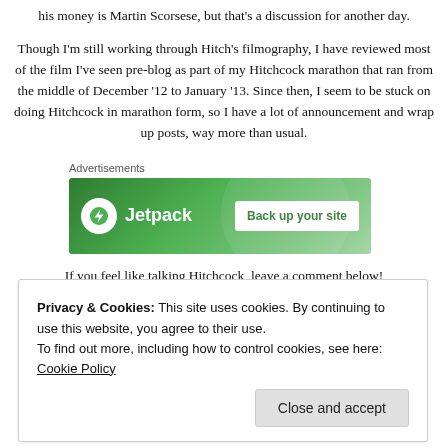his money is Martin Scorsese, but that's a discussion for another day.
Though I'm still working through Hitch's filmography, I have reviewed most of the film I've seen pre-blog as part of my Hitchcock marathon that ran from the middle of December '12 to January '13. Since then, I seem to be stuck on doing Hitchcock in marathon form, so I have a lot of announcement and wrap up posts, way more than usual.
[Figure (other): Jetpack advertisement banner with green background showing Jetpack logo and 'Back up your site' button]
If you feel like talking Hitchcock, leave a comment below!
Rankings and Other Assorted Posts:
Privacy & Cookies: This site uses cookies. By continuing to use this website, you agree to their use.
To find out more, including how to control cookies, see here: Cookie Policy